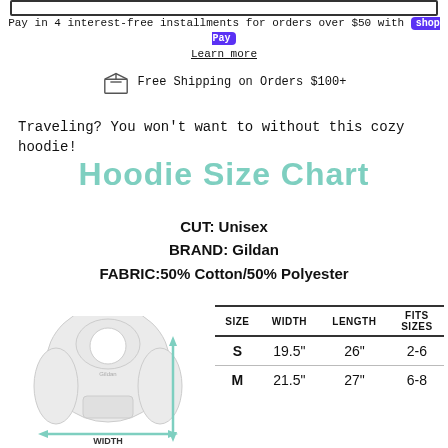Pay in 4 interest-free installments for orders over $50 with shop Pay
Learn more
Free Shipping on Orders $100+
Traveling? You won't want to without this cozy hoodie!
Hoodie Size Chart
CUT: Unisex
BRAND: Gildan
FABRIC:50% Cotton/50% Polyester
[Figure (illustration): White hoodie with cyan arrows showing width and length measurements]
| SIZE | WIDTH | LENGTH | FITS SIZES |
| --- | --- | --- | --- |
| S | 19.5" | 26" | 2-6 |
| M | 21.5" | 27" | 6-8 |